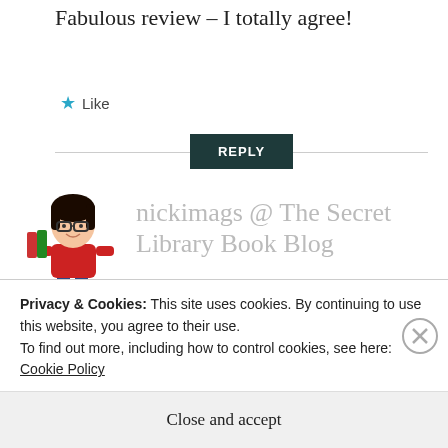Fabulous review – I totally agree!
★ Like
REPLY
[Figure (illustration): Cartoon avatar of a woman with dark hair and glasses, wearing a red top and jeans, holding books]
nickimags @ The Secret Library Book Blog
JANUARY 16, 2019 AT 3:06 PM
Privacy & Cookies: This site uses cookies. By continuing to use this website, you agree to their use.
To find out more, including how to control cookies, see here: Cookie Policy
Close and accept